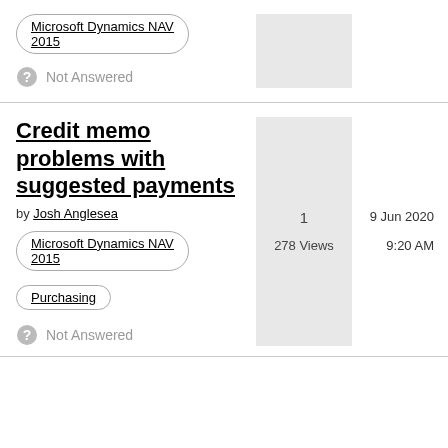Microsoft Dynamics NAV 2015
Not Answered
Credit memo problems with suggested payments
by Josh Anglesea
1
278 Views
9 Jun 2020
9:20 AM
Microsoft Dynamics NAV 2015
Purchasing
Not Answered